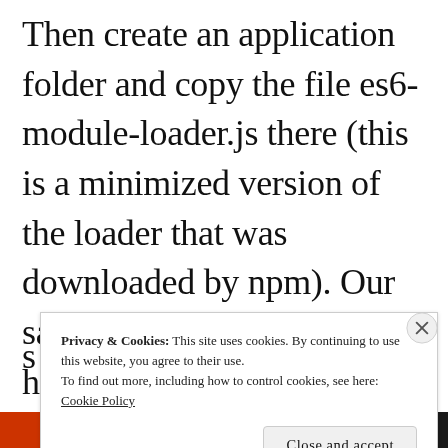Then create an application folder and copy the file es6-module-loader.js there (this is a minimized version of the loader that was downloaded by npm). Our sample application will have two additional files: moduleLoader.html and
Privacy & Cookies: This site uses cookies. By continuing to use this website, you agree to their use.
To find out more, including how to control cookies, see here:
Cookie Policy
Close and accept